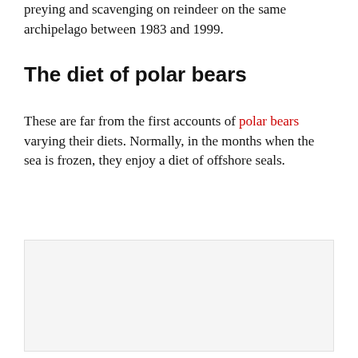preying and scavenging on reindeer on the same archipelago between 1983 and 1999.
The diet of polar bears
These are far from the first accounts of polar bears varying their diets. Normally, in the months when the sea is frozen, they enjoy a diet of offshore seals.
[Figure (photo): A light gray rectangular image placeholder.]